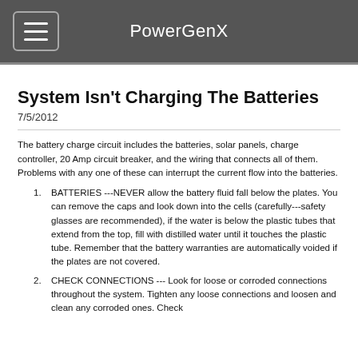PowerGenX
System Isn't Charging The Batteries
7/5/2012
The battery charge circuit includes the batteries, solar panels, charge controller, 20 Amp circuit breaker, and the wiring that connects all of them.  Problems with any one of these can interrupt the current flow into the batteries.
BATTERIES ---NEVER allow the battery fluid fall below the plates.  You can remove the caps and look down into the cells (carefully---safety glasses are recommended), if the water is below the plastic tubes that extend from the top, fill with distilled water until it touches the plastic tube.  Remember that the battery warranties are automatically voided if the plates are not covered.
CHECK CONNECTIONS --- Look for loose or corroded connections throughout the system.  Tighten any loose connections and loosen and clean any corroded ones.  Check